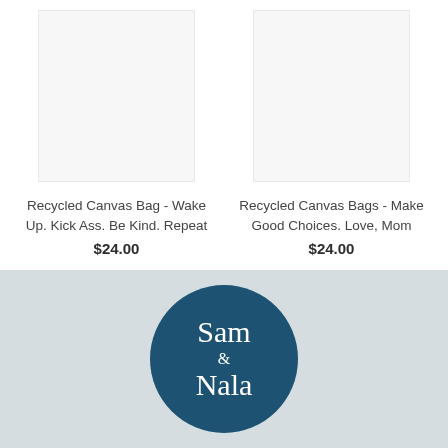[Figure (photo): Product image placeholder for Recycled Canvas Bag - Wake Up. Kick Ass. Be Kind. Repeat]
Recycled Canvas Bag - Wake Up. Kick Ass. Be Kind. Repeat
$24.00
[Figure (photo): Product image placeholder for Recycled Canvas Bags - Make Good Choices. Love, Mom]
Recycled Canvas Bags - Make Good Choices. Love, Mom
$24.00
[Figure (logo): Sam & Nala logo - circular dark teal badge with handwritten-style white text]